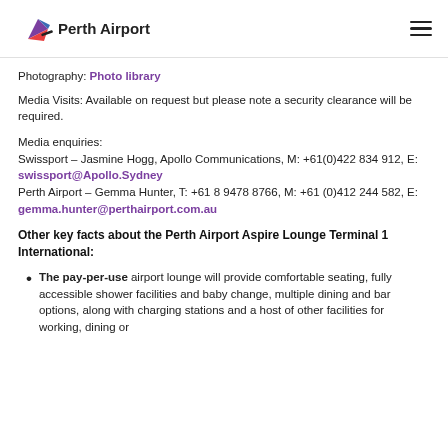Perth Airport
Photography: Photo library
Media Visits: Available on request but please note a security clearance will be required.
Media enquiries:
Swissport – Jasmine Hogg, Apollo Communications, M: +61(0)422 834 912, E: swissport@Apollo.Sydney
Perth Airport – Gemma Hunter, T: +61 8 9478 8766, M: +61 (0)412 244 582, E: gemma.hunter@perthairport.com.au
Other key facts about the Perth Airport Aspire Lounge Terminal 1 International:
The pay-per-use airport lounge will provide comfortable seating, fully accessible shower facilities and baby change, multiple dining and bar options, along with charging stations and a host of other facilities for working, dining or